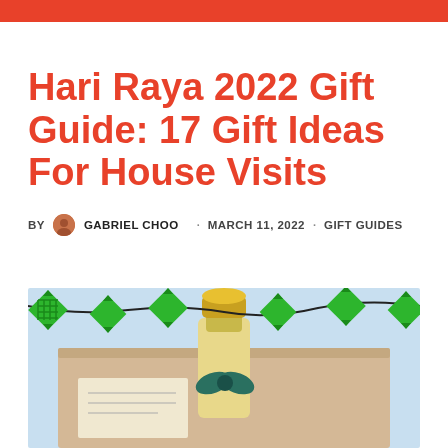Hari Raya 2022 Gift Guide: 17 Gift Ideas For House Visits
BY GABRIEL CHOO · MARCH 11, 2022 · GIFT GUIDES
[Figure (photo): Photo of a gift box with a bottle of champagne with a gold foil top and teal bow, with green ketupat decorations hanging on a string in the foreground against a light blue background.]